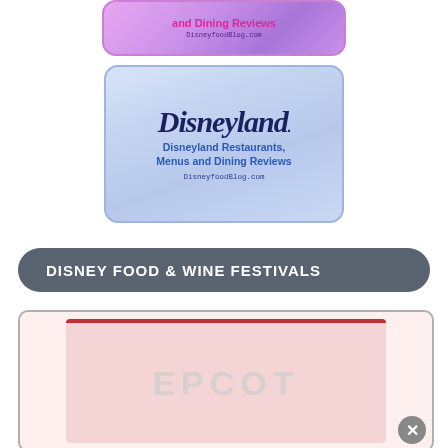[Figure (logo): Disney Food Blog banner – Restaurants, Menus and Dining Reviews, DisneyfoodBlog.com, purple gradient rounded rectangle]
[Figure (logo): Disneyland Restaurants, Menus and Dining Reviews – DisneyfoodBlog.com, light blue gradient rounded rectangle with Disneyland gothic title]
DISNEY FOOD & WINE FESTIVALS
[Figure (logo): EPCOT festival banner, pink/red toned, partially visible at bottom of page]